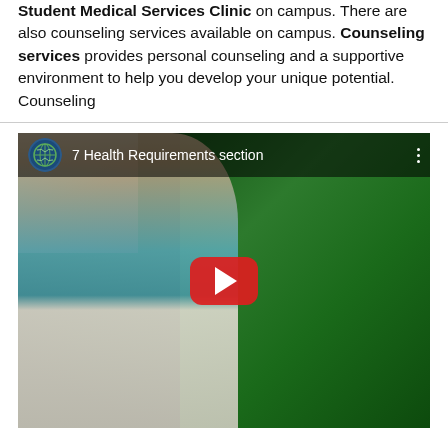Student Medical Services Clinic on campus. There are also counseling services available on campus. Counseling services provides personal counseling and a supportive environment to help you develop your unique potential. Counseling
[Figure (screenshot): YouTube video thumbnail showing a young woman outdoors with tropical foliage in background. Video title overlay reads '7 Health Requirements section' with a channel logo (circular badge with map/globe design) in the top left. A red YouTube play button is centered on the image.]